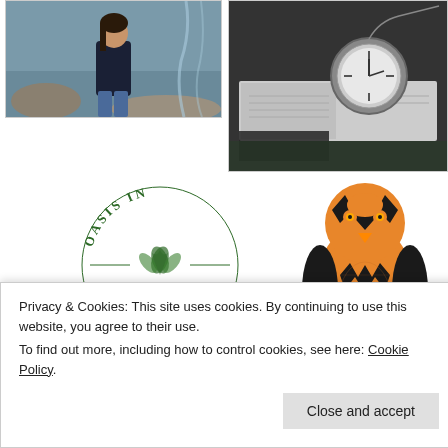[Figure (photo): Person standing near a river/waterfall, wearing a dark jacket and jeans, with flowing water and rocks in the background. Color photo.]
[Figure (photo): Black and white photo of an open book with a pocket watch resting on top, placed outdoors.]
[Figure (logo): Circular green logo reading 'OASIS IN JESUS CHRIST' with botanical leaf illustrations in the center.]
the brooke of bliss...
[Figure (illustration): Illustrated orange and black penguin character with the letter M on its chest/body.]
Privacy & Cookies: This site uses cookies. By continuing to use this website, you agree to their use.
To find out more, including how to control cookies, see here: Cookie Policy
Close and accept